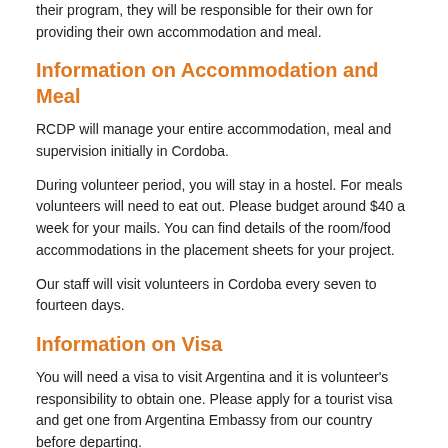their program, they will be responsible for their own for providing their own accommodation and meal.
Information on Accommodation and Meal
RCDP will manage your entire accommodation, meal and supervision initially in Cordoba.
During volunteer period, you will stay in a hostel. For meals volunteers will need to eat out. Please budget around $40 a week for your mails. You can find details of the room/food accommodations in the placement sheets for your project.
Our staff will visit volunteers in Cordoba every seven to fourteen days.
Information on Visa
You will need a visa to visit Argentina and it is volunteer's responsibility to obtain one. Please apply for a tourist visa and get one from Argentina Embassy from our country before departing.
Please call our office or contact your nearest Argentina embassy to learn more about visa, visa fees and visa extensions. Much information can be